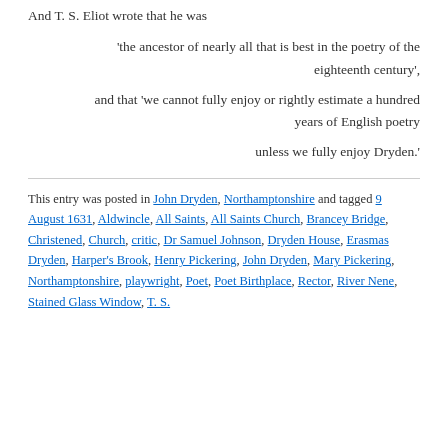And T. S. Eliot wrote that he was
'the ancestor of nearly all that is best in the poetry of the eighteenth century',
and that 'we cannot fully enjoy or rightly estimate a hundred years of English poetry
unless we fully enjoy Dryden.'
This entry was posted in John Dryden, Northamptonshire and tagged 9 August 1631, Aldwincle, All Saints, All Saints Church, Brancey Bridge, Christened, Church, critic, Dr Samuel Johnson, Dryden House, Erasmas Dryden, Harper's Brook, Henry Pickering, John Dryden, Mary Pickering, Northamptonshire, playwright, Poet, Poet Birthplace, Rector, River Nene, Stained Glass Window, T. S. Eliot, The Church, Consecration, Trent, Thomas, Watermil...